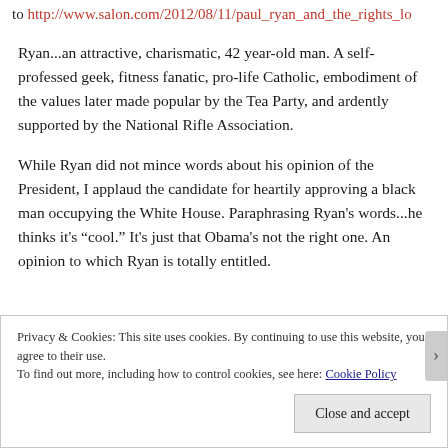to http://www.salon.com/2012/08/11/paul_ryan_and_the_rights_lo
Ryan...an attractive, charismatic, 42 year-old man. A self-professed geek, fitness fanatic, pro-life Catholic, embodiment of the values later made popular by the Tea Party, and ardently supported by the National Rifle Association.
While Ryan did not mince words about his opinion of the President, I applaud the candidate for heartily approving a black man occupying the White House. Paraphrasing Ryan's words...he thinks it’s “cool.” It’s just that Obama’s not the right one. An opinion to which Ryan is totally entitled.
Privacy & Cookies: This site uses cookies. By continuing to use this website, you agree to their use.
To find out more, including how to control cookies, see here: Cookie Policy